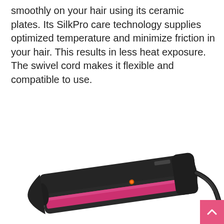smoothly on your hair using its ceramic plates. Its SilkPro care technology supplies optimized temperature and minimize friction in your hair. This results in less heat exposure. The swivel cord makes it flexible and compatible to use.
[Figure (photo): A black hair straightener/flat iron with pink ceramic plates, shown at an angle against a white background. The device has a dark handle and cord, with a small orange indicator light visible.]